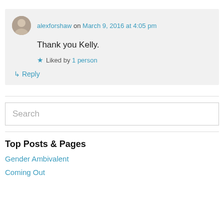alexforshaw on March 9, 2016 at 4:05 pm
Thank you Kelly.
★ Liked by 1 person
↳ Reply
Search
Top Posts & Pages
Gender Ambivalent
Coming Out